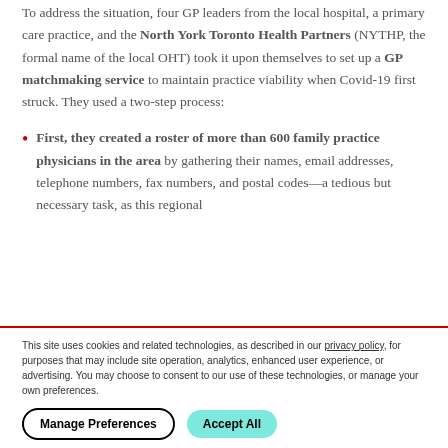To address the situation, four GP leaders from the local hospital, a primary care practice, and the North York Toronto Health Partners (NYTHP, the formal name of the local OHT) took it upon themselves to set up a GP matchmaking service to maintain practice viability when Covid-19 first struck. They used a two-step process:
First, they created a roster of more than 600 family practice physicians in the area by gathering their names, email addresses, telephone numbers, fax numbers, and postal codes—a tedious but necessary task, as this regional
This site uses cookies and related technologies, as described in our privacy policy, for purposes that may include site operation, analytics, enhanced user experience, or advertising. You may choose to consent to our use of these technologies, or manage your own preferences.